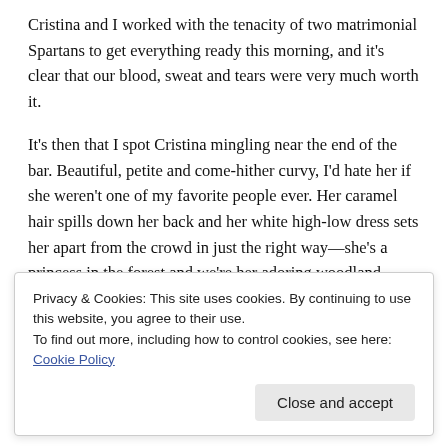Cristina and I worked with the tenacity of two matrimonial Spartans to get everything ready this morning, and it's clear that our blood, sweat and tears were very much worth it.
It's then that I spot Cristina mingling near the end of the bar. Beautiful, petite and come-hither curvy, I'd hate her if she weren't one of my favorite people ever. Her caramel hair spills down her back and her white high-low dress sets her apart from the crowd in just the right way—she's a princess in the forest and we're her adoring woodland animals. I'm her feisty chipmunk sidekick to my core.
Privacy & Cookies: This site uses cookies. By continuing to use this website, you agree to their use. To find out more, including how to control cookies, see here: Cookie Policy